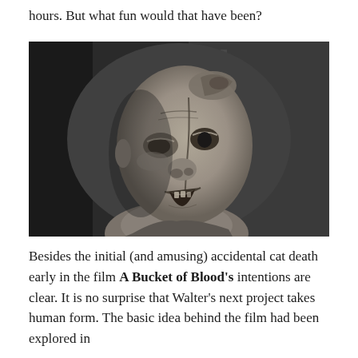hours. But what fun would that have been?
[Figure (photo): Black and white close-up photograph of a grotesque clay or rubber sculpted zombie/monster face with wrinkled skin, exposed teeth, and a damaged top of the skull, looking upward and to the side.]
Besides the initial (and amusing) accidental cat death early in the film A Bucket of Blood's intentions are clear. It is no surprise that Walter's next project takes human form. The basic idea behind the film had been explored in